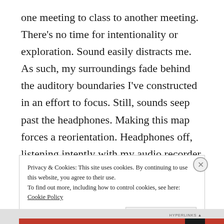one meeting to class to another meeting. There's no time for intentionality or exploration. Sound easily distracts me. As such, my surroundings fade behind the auditory boundaries I've constructed in an effort to focus. Still, sounds seep past the headphones. Making this map forces a reorientation. Headphones off, listening intently with my audio recorder at hand, ready for action.
Privacy & Cookies: This site uses cookies. By continuing to use this website, you agree to their use.
To find out more, including how to control cookies, see here: Cookie Policy
Close and accept